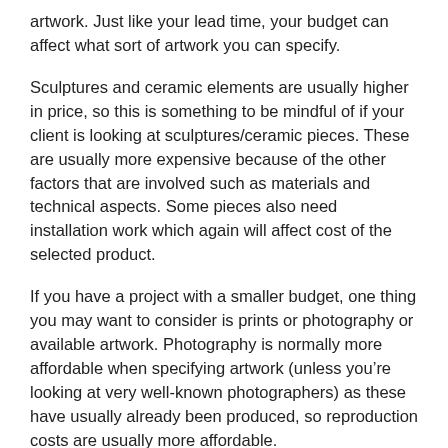artwork. Just like your lead time, your budget can affect what sort of artwork you can specify.
Sculptures and ceramic elements are usually higher in price, so this is something to be mindful of if your client is looking at sculptures/ceramic pieces. These are usually more expensive because of the other factors that are involved such as materials and technical aspects. Some pieces also need installation work which again will affect cost of the selected product.
If you have a project with a smaller budget, one thing you may want to consider is prints or photography or available artwork. Photography is normally more affordable when specifying artwork (unless you’re looking at very well-known photographers) as these have usually already been produced, so reproduction costs are usually more affordable.
Sometimes certain artists are out of budget or have too long lead time so sometimes there is the option to have a print of an original painting or artwork. While this isn't always possible, it's something to consider if you have a short lead time or a very small budget to work within.